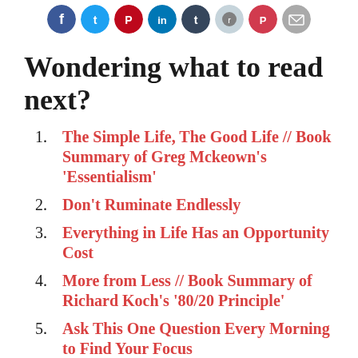[Figure (other): Row of social media sharing icon circles: Facebook (blue), Twitter (blue), Pinterest (red), LinkedIn (blue), Tumblr (dark blue), Reddit (light blue), Pocket (red), Email (grey)]
Wondering what to read next?
The Simple Life, The Good Life // Book Summary of Greg Mckeown’s ‘Essentialism’
Don’t Ruminate Endlessly
Everything in Life Has an Opportunity Cost
More from Less // Book Summary of Richard Koch’s ‘80/20 Principle’
Ask This One Question Every Morning to Find Your Focus